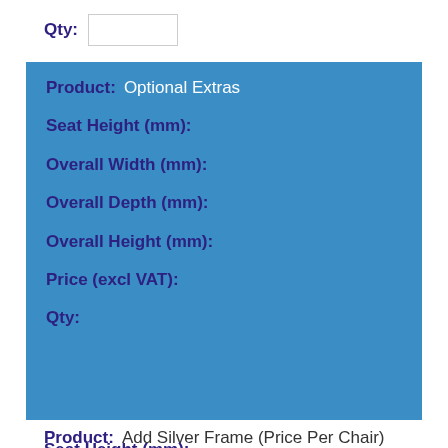Qty:
Product: Optional Extras
Seat Height (mm):
Overall Width (mm):
Overall Depth (mm):
Overall Height (mm):
Price (excl VAT):
Qty:
Product: Add Silver Frame (Price Per Chair)
Product Code: EF12110
Seat Height (mm):